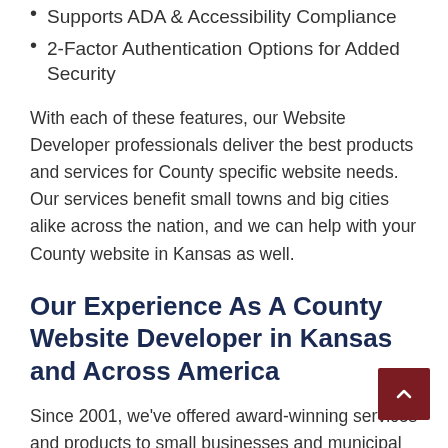Supports ADA & Accessibility Compliance
2-Factor Authentication Options for Added Security
With each of these features, our Website Developer professionals deliver the best products and services for County specific website needs. Our services benefit small towns and big cities alike across the nation, and we can help with your County website in Kansas as well.
Our Experience As A County Website Developer in Kansas and Across America
Since 2001, we've offered award-winning services and products to small businesses and municipal service providers in Kansas and across the country. We've built County websites for clients like Website Developer, city